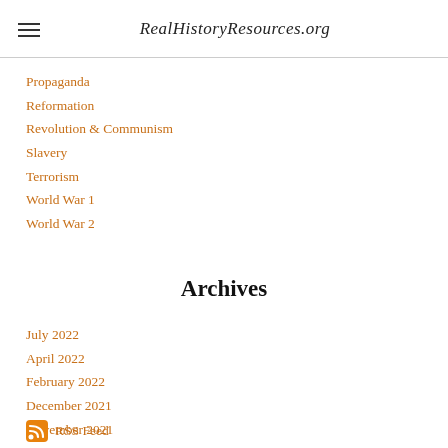RealHistoryResources.org
Propaganda
Reformation
Revolution & Communism
Slavery
Terrorism
World War 1
World War 2
Archives
July 2022
April 2022
February 2022
December 2021
November 2021
October 2021
RSS Feed